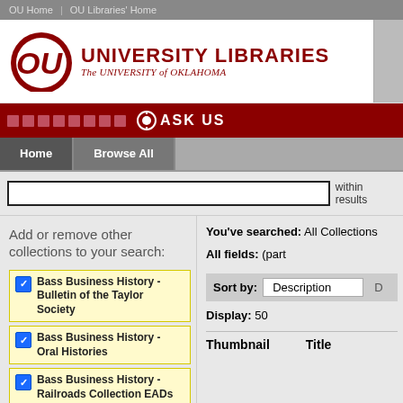OU Home | OU Libraries' Home
[Figure (logo): University of Oklahoma University Libraries logo with OU crimson interlocking letters and text 'UNIVERSITY LIBRARIES The University of Oklahoma']
ASK US
Home   Browse All
within results
Add or remove other collections to your search:
Bass Business History - Bulletin of the Taylor Society
Bass Business History - Oral Histories
Bass Business History - Railroads Collection EADs
Bass Business History - Robert Kahn's Retailing Today
Bass Business History - Western
You've searched: All Collections
All fields: (part
Sort by: Description
Display: 50
Thumbnail   Title